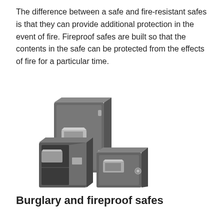The difference between a safe and fire-resistant safes is that they can provide additional protection in the event of fire. Fireproof safes are built so that the contents in the safe can be protected from the effects of fire for a particular time.
[Figure (photo): Three dark grey metal safes of different sizes grouped together; one is open showing the interior.]
Burglary and fireproof safes
You may want a burglar-proof safe next to a fireproof one. Then it might be an idea to choose a combination safe which can resist both forces. Is this the only solution? No, you can also choose a fireproof cabinet in a burglar proof safe, which is often cheaper than a full fire and burglar proof solution.